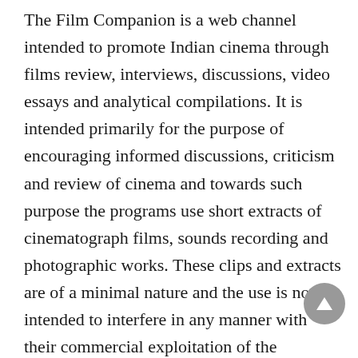The Film Companion is a web channel intended to promote Indian cinema through films review, interviews, discussions, video essays and analytical compilations. It is intended primarily for the purpose of encouraging informed discussions, criticism and review of cinema and towards such purpose the programs use short extracts of cinematograph films, sounds recording and photographic works. These clips and extracts are of a minimal nature and the use is not intended to interfere in any manner with their commercial exploitation of the complete work by the owners of the copyright. The use of works are in compliance with the fair dealing exception provided under Sec. 52 of the Copyright Act, and we assert our use of the works under the exception provided for criticism and review.